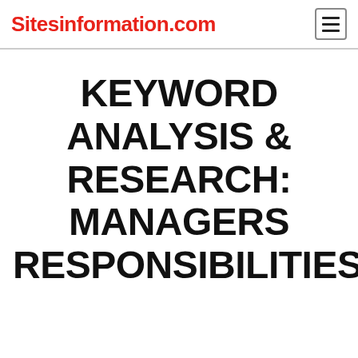Sitesinformation.com
KEYWORD ANALYSIS & RESEARCH: MANAGERS RESPONSIBILITIES